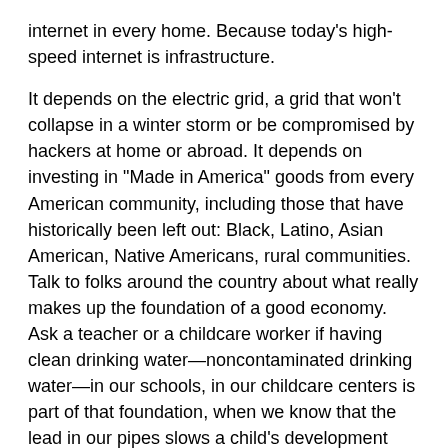internet in every home. Because today's high-speed internet is infrastructure.
It depends on the electric grid, a grid that won't collapse in a winter storm or be compromised by hackers at home or abroad. It depends on investing in "Made in America" goods from every American community, including those that have historically been left out: Black, Latino, Asian American, Native Americans, rural communities. Talk to folks around the country about what really makes up the foundation of a good economy. Ask a teacher or a childcare worker if having clean drinking water—noncontaminated drinking water—in our schools, in our childcare centers is part of that foundation, when we know that the lead in our pipes slows a child's development when they drink that water.
Ask the entrepreneur whose small business was destroyed by the second hundred-year flood in the last 10 years in Iowa or wildfires in the West that burned 5 million acres last year, an area roughly the size of the entire State of New Jersey. More fires than ever. Or the devastating damage—seeing more